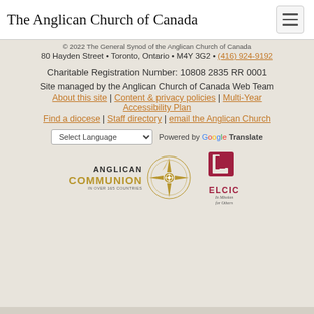The Anglican Church of Canada
© 2022 The General Synod of the Anglican Church of Canada
80 Hayden Street • Toronto, Ontario • M4Y 3G2 • (416) 924-9192
Charitable Registration Number: 10808 2835 RR 0001
Site managed by the Anglican Church of Canada Web Team
About this site | Content & privacy policies | Multi-Year Accessibility Plan
Find a diocese | Staff directory | email the Anglican Church
Select Language — Powered by Google Translate
[Figure (logo): Anglican Communion logo with compass rose and text 'ANGLICAN COMMUNION IN OVER 165 COUNTRIES']
[Figure (logo): ELCIC logo with red graphic and text 'ELCIC In Mission for Others']